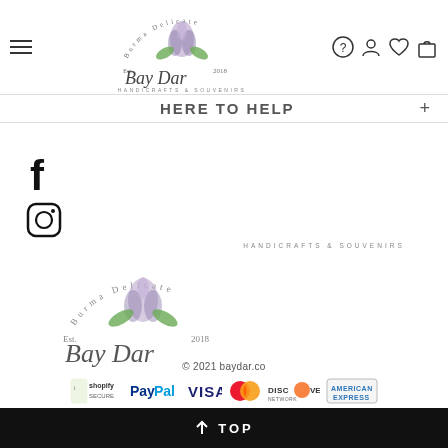Bay Dar Handicrafts & Souvenirs — Burma Delicate Est. 2018 logo header with navigation icons
HERE TO HELP +
[Figure (logo): Facebook 'f' social media icon]
[Figure (logo): Instagram camera social media icon]
[Figure (logo): Bay Dar Handicrafts & Souvenirs — Burma Delicate Est. 2018 footer logo]
© 2021 baydar.co
[Figure (logo): Payment method logos: Shopify Secure, PayPal, Visa, Mastercard, Discover Network, American Express]
↑ TOP